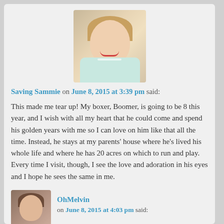[Figure (photo): Profile photo of a smiling woman with blonde hair wearing a light blue/green jacket]
Saving Sammie on June 8, 2015 at 3:39 pm said:
This made me tear up! My boxer, Boomer, is going to be 8 this year, and I wish with all my heart that he could come and spend his golden years with me so I can love on him like that all the time. Instead, he stays at my parents' house where he's lived his whole life and where he has 20 acres on which to run and play. Every time I visit, though, I see the love and adoration in his eyes and I hope he sees the same in me.
Loading...
Reply ↓
[Figure (photo): Profile photo of a woman with dark hair]
OhMelvin on June 8, 2015 at 4:03 pm said: